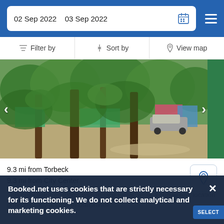02 Sep 2022  03 Sep 2022
Filter by  Sort by  View map
[Figure (photo): Outdoor scene with large trees and colorful buildings (green, pink, blue) in background, a vehicle parked, gravelly ground]
9.3 mi from Torbeck
9.3 mi from City Center
This hotel features rooms with terrace views, while a convenient location provides easy access to Dauphinee…
Booked.net uses cookies that are strictly necessary for its functioning. We do not collect analytical and marketing cookies.